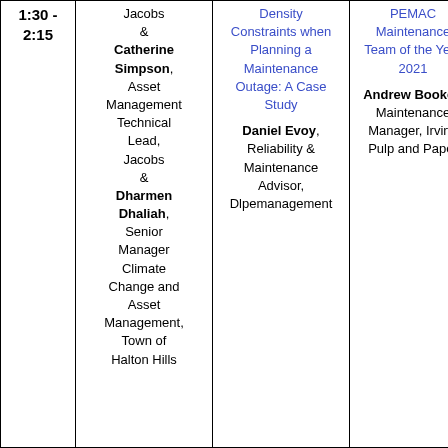| Time | Session 1 | Session 2 | Session 3 |
| --- | --- | --- | --- |
| 1:30 - 2:15 | Jacobs & Catherine Simpson, Asset Management Technical Lead, Jacobs & Dharmen Dhaliah, Senior Manager Climate Change and Asset Management, Town of Halton Hills | Density Constraints when Planning a Maintenance Outage: A Case Study

Daniel Evoy, Reliability & Maintenance Advisor, Dlpemanagement | PEMAC Maintenance Team of the Year 2021

Andrew Booker, Maintenance Manager, Irving Pulp and Paper |